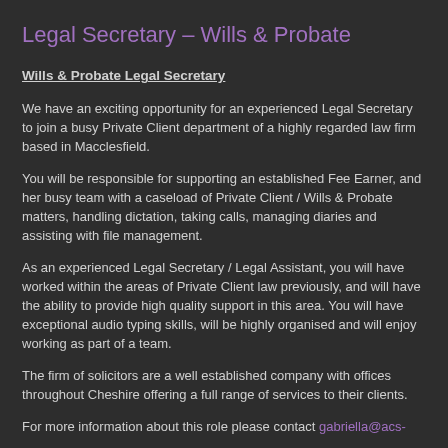Legal Secretary – Wills & Probate
Wills & Probate Legal Secretary
We have an exciting opportunity for an experienced Legal Secretary to join a busy Private Client department of a highly regarded law firm based in Macclesfield.
You will be responsible for supporting an established Fee Earner, and her busy team with a caseload of Private Client / Wills & Probate matters, handling dictation, taking calls, managing diaries and assisting with file management.
As an experienced Legal Secretary / Legal Assistant, you will have worked within the areas of Private Client law previously, and will have the ability to provide high quality support in this area. You will have exceptional audio typing skills, will be highly organised and will enjoy working as part of a team.
The firm of solicitors are a well established company with offices throughout Cheshire offering a full range of services to their clients.
For more information about this role please contact gabriella@acs-